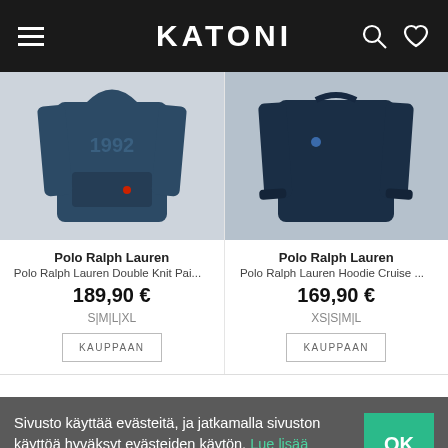KATONI
[Figure (photo): Polo Ralph Lauren navy blue hoodie with logo text, left product]
Polo Ralph Lauren
Polo Ralph Lauren Double Knit Pai...
189,90 €
S|M|L|XL
[Figure (photo): Polo Ralph Lauren navy blue plain hoodie, right product]
Polo Ralph Lauren
Polo Ralph Lauren Hoodie Cruise ...
169,90 €
XS|S|M|L
Sivusto käyttää evästeitä, ja jatkamalla sivuston käyttöä hyväksyt evästeiden käytön. Lue lisää sivuston käyttämistä evästeistä